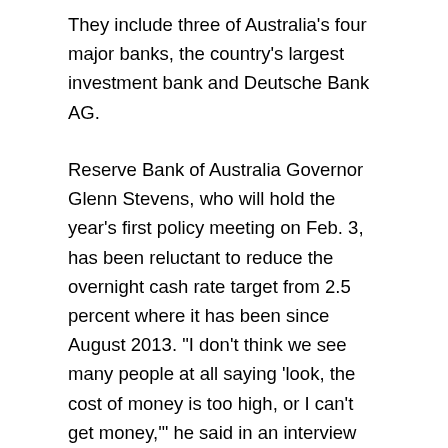They include three of Australia's four major banks, the country's largest investment bank and Deutsche Bank AG.
Reserve Bank of Australia Governor Glenn Stevens, who will hold the year's first policy meeting on Feb. 3, has been reluctant to reduce the overnight cash rate target from 2.5 percent where it has been since August 2013. "I don't think we see many people at all saying 'look, the cost of money is too high, or I can't get money,'" he said in an interview with the Australian Financial Review published Dec. 12 — his most recent public comments.
Here's why some economists think he will relent:
* The hoped-for transition away from mining hasn't taken hold